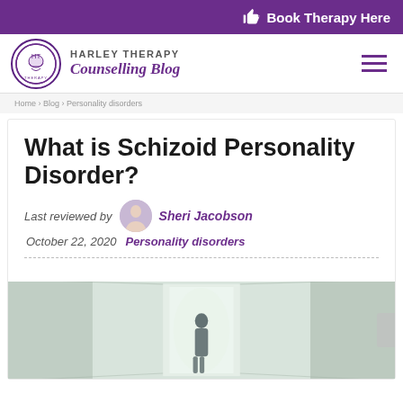Book Therapy Here
[Figure (logo): Harley Therapy Counselling Blog logo with circular emblem and brand name]
What is Schizoid Personality Disorder?
Last reviewed by Sheri Jacobson
October 22, 2020   Personality disorders
[Figure (photo): Person walking through a corridor or hallway, photographed from behind]